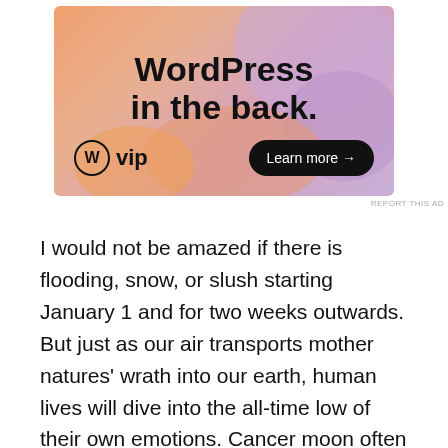[Figure (screenshot): WordPress VIP advertisement banner with colorful gradient background, showing text 'WordPress in the back.' with WordPress VIP logo and a 'Learn more →' button]
I would not be amazed if there is flooding, snow, or slush starting January 1 and for two weeks outwards. But just as our air transports mother natures' wrath into our earth, human lives will dive into the all-time low of their own emotions. Cancer moon often brings a lot of water, snow, and rushing rain which could cause destruction to hills and mountains. It could also cause impairment to our own emotions.
However, for all that is devastated there is an opportunity to restructure with beauty and bliss. Full moon frequently